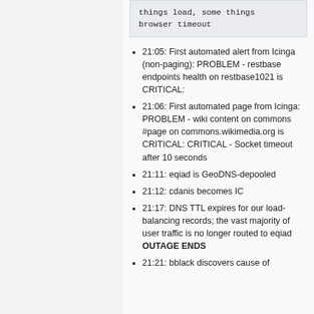things load, some things browser timeout
21:05: First automated alert from Icinga (non-paging): PROBLEM - restbase endpoints health on restbase1021 is CRITICAL:
21:06: First automated page from Icinga: PROBLEM - wiki content on commons #page on commons.wikimedia.org is CRITICAL: CRITICAL - Socket timeout after 10 seconds
21:11: eqiad is GeoDNS-depooled
21:12: cdanis becomes IC
21:17: DNS TTL expires for our load-balancing records; the vast majority of user traffic is no longer routed to eqiad OUTAGE ENDS
21:21: bblack discovers cause of